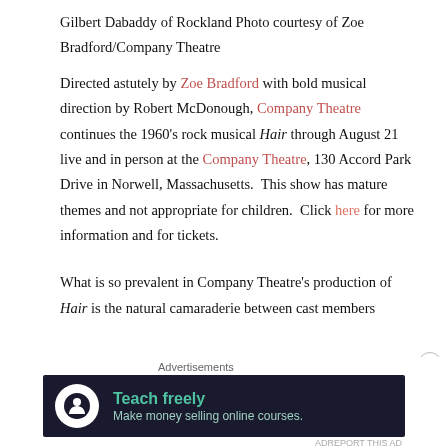Gilbert Dabaddy of Rockland Photo courtesy of Zoe Bradford/Company Theatre
Directed astutely by Zoe Bradford with bold musical direction by Robert McDonough, Company Theatre continues the 1960’s rock musical Hair through August 21 live and in person at the Company Theatre, 130 Accord Park Drive in Norwell, Massachusetts. This show has mature themes and not appropriate for children. Click here for more information and for tickets.
What is so prevalent in Company Theatre’s production of Hair is the natural camaraderie between cast members
[Figure (other): Advertisement banner: Teach freely - Make money selling online courses. Dark background with teal logo and text.]